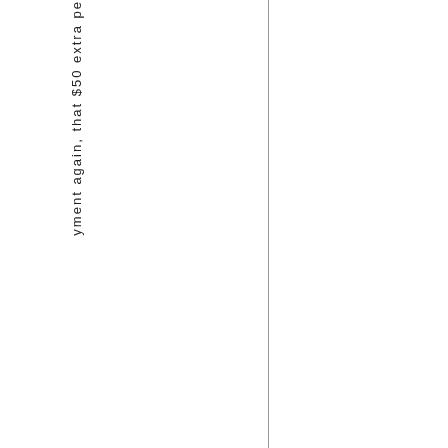yment again, that $50 extra pe